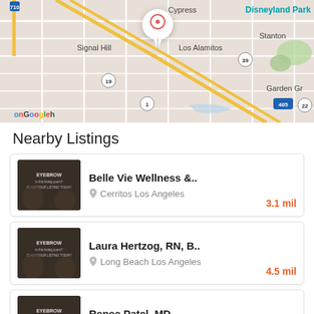[Figure (map): Google Maps screenshot showing area around Long Beach/Cerritos California with Signal Hill, Los Alamitos, Cypress, Stanton, Disneyland Park, Garden Grove visible. A location pin is dropped near the center. Roads 710, 19, 1, 39, 405, 22 are visible.]
Nearby Listings
Belle Vie Wellness &.. | Cerritos Los Angeles | 3.1 mil
Laura Hertzog, RN, B.. | Long Beach Los Angeles | 4.5 mil
Renee Patel, MD.. | Downey Los Angeles | 6.3 mil